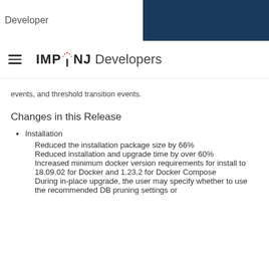Developer | IMPINJ Developers
events, and threshold transition events.
Changes in this Release
Installation
Reduced the installation package size by 66%
Reduced installation and upgrade time by over 60%
Increased minimum docker version requirements for install to 18.09.02 for Docker and 1.23.2 for Docker Compose
During in-place upgrade, the user may specify whether to use the recommended DB pruning settings or